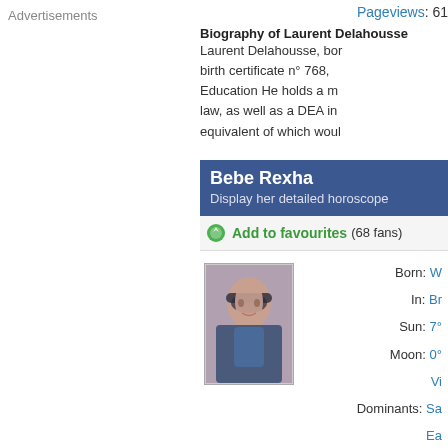Pageviews: 61
Biography of Laurent Delahousse
Laurent Delahousse, born birth certificate n° 768, Education He holds a master law, as well as a DEA in equivalent of which would
Advertisements
Bebe Rexha
Display her detailed horoscope
Add to favourites (68 fans)
[Figure (photo): Portrait photo of Bebe Rexha wearing a hat and blue outfit]
Born: W
In: Br
Sun: 7°
Moon: 0°
Vi
Dominants: Sa
Ea
Chinese Astrology: Ea
Numerology: Bi